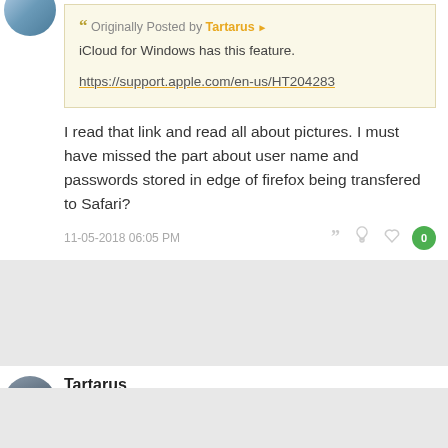Originally Posted by Tartarus
iCloud for Windows has this feature.
https://support.apple.com/en-us/HT204283
I read that link and read all about pictures. I must have missed the part about user name and passwords stored in edge of firefox being transfered to Safari?
11-05-2018 06:05 PM
Tartarus
Ambassador
Originally Posted by recDNA